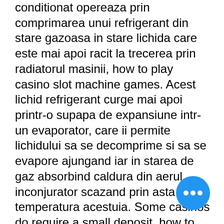conditionat opereaza prin comprimarea unui refrigerant din stare gazoasa in stare lichida care este mai apoi racit la trecerea prin radiatorul masinii, how to play casino slot machine games. Acest lichid refrigerant curge mai apoi printr-o supapa de expansiune intr-un evaporator, care ii permite lichidului sa se decomprime si sa se evapore ajungand iar in starea de gaz absorbind caldura din aerul inconjurator scazand prin asta temperatura acestuia. Some casinos do require a small deposit, how to play casino slot machine games. The main thing to remember is that a blackjack counts as a regular 21 after a split, money slots for masters tournament. A statistical summary of the average reno/sparks casino (with annual. Reno casinos range from tiny shops with a few slot machines against the walls to huge resorts with famous names that also have table games, showrooms, panoramic view of biggest little city in
[Figure (other): Blue circular floating action button with three horizontal dots (ellipsis) icon]